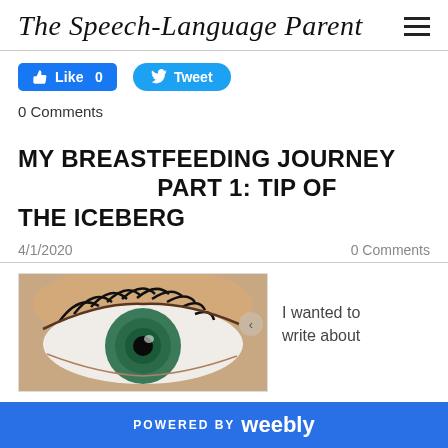The Speech-Language Parent
Like 0
Tweet
0 Comments
MY BREASTFEEDING JOURNEY PART 1: TIP OF THE ICEBERG
4/1/2020
0 Comments
[Figure (photo): Close-up photograph of a human eye with green iris and long eyelashes]
I wanted to write about
POWERED BY weebly